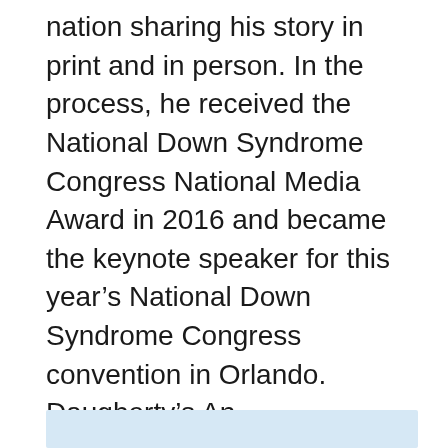nation sharing his story in print and in person. In the process, he received the National Down Syndrome Congress National Media Award in 2016 and became the keynote speaker for this year's National Down Syndrome Congress convention in Orlando. Daugherty's An Uncomplicated Life is available through Amazon.com.
Next week, learn his feelings concerning Jillian's relatively recent marriage to husband Ryan, who also was born with Down syndrome.